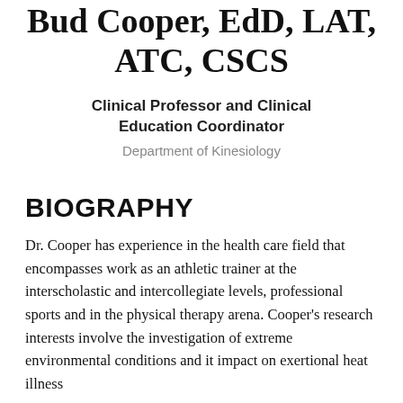Bud Cooper, EdD, LAT, ATC, CSCS
Clinical Professor and Clinical Education Coordinator
Department of Kinesiology
BIOGRAPHY
Dr. Cooper has experience in the health care field that encompasses work as an athletic trainer at the interscholastic and intercollegiate levels, professional sports and in the physical therapy arena. Cooper's research interests involve the investigation of extreme environmental conditions and it impact on exertional heat illness